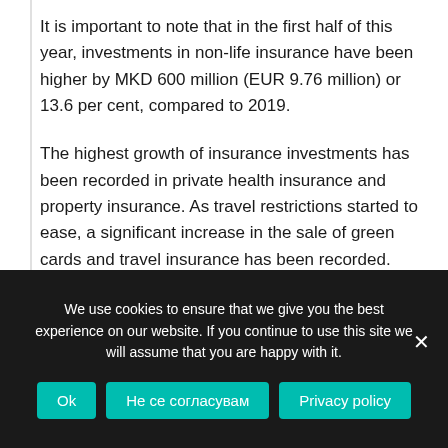It is important to note that in the first half of this year, investments in non-life insurance have been higher by MKD 600 million (EUR 9.76 million) or 13.6 per cent, compared to 2019.
The highest growth of insurance investments has been recorded in private health insurance and property insurance. As travel restrictions started to ease, a significant increase in the sale of green cards and travel insurance has been recorded.
Property insurance reached a value of MKD 1.4 billion (EUR 22.7 million) for six months, which is MKD 210.3 million (EUR 3.4 million) more compared to the same
We use cookies to ensure that we give you the best experience on our website. If you continue to use this site we will assume that you are happy with it.